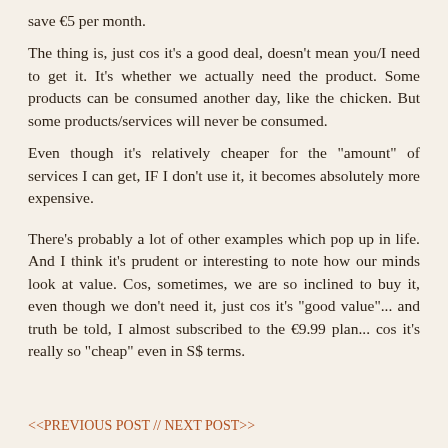save €5 per month.
The thing is, just cos it's a good deal, doesn't mean you/I need to get it. It's whether we actually need the product. Some products can be consumed another day, like the chicken. But some products/services will never be consumed.
Even though it's relatively cheaper for the "amount" of services I can get, IF I don't use it, it becomes absolutely more expensive.
There's probably a lot of other examples which pop up in life. And I think it's prudent or interesting to note how our minds look at value. Cos, sometimes, we are so inclined to buy it, even though we don't need it, just cos it's "good value"... and truth be told, I almost subscribed to the €9.99 plan... cos it's really so "cheap" even in S$ terms.
<<PREVIOUS POST // NEXT POST>>